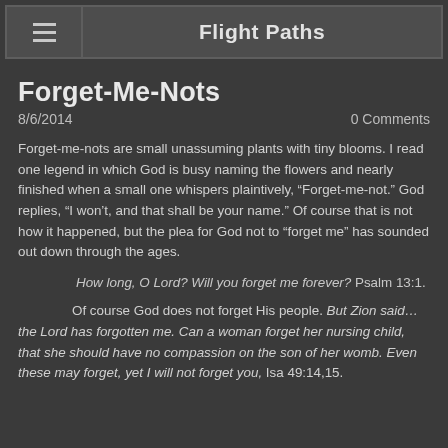Flight Paths
Forget-Me-Nots
8/6/2014    0 Comments
Forget-me-nots are small unassuming plants with tiny blooms. I read one legend in which God is busy naming the flowers and nearly finished when a small one whispers plaintively, “Forget-me-not.” God replies, “I won’t, and that shall be your name.” Of course that is not how it happened, but the plea for God not to “forget me” has sounded out down through the ages.
How long, O Lord? Will you forget me forever? Psalm 13:1.
Of course God does not forget His people. But Zion said…the Lord has forgotten me. Can a woman forget her nursing child, that she should have no compassion on the son of her womb. Even these may forget, yet I will not forget you, Isa 49:14,15.